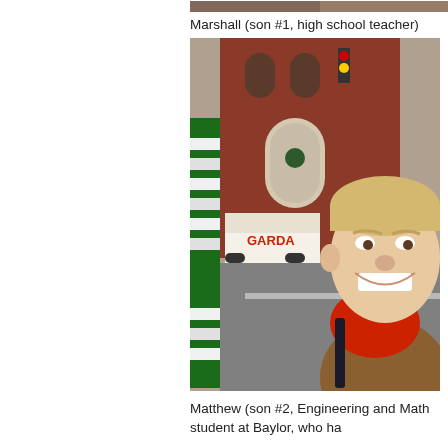[Figure (photo): Partial top edge of a photo at the top of the page]
Marshall (son #1, high school teacher)
[Figure (photo): Portrait photo of a young man with short blonde hair, smiling broadly, wearing a red scarf and a tan/brown jacket with a backpack. Background shows a city street with a red brick building, a white GARDA van, and green signage on the left.]
Matthew (son #2, Engineering and Math student at Baylor, who ha